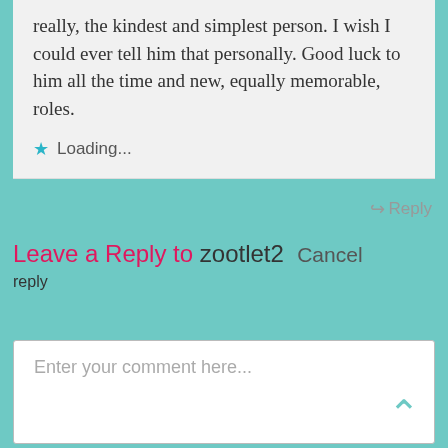really, the kindest and simplest person. I wish I could ever tell him that personally. Good luck to him all the time and new, equally memorable, roles.
Loading...
↪ Reply
Leave a Reply to zootlet2 Cancel reply
Enter your comment here...